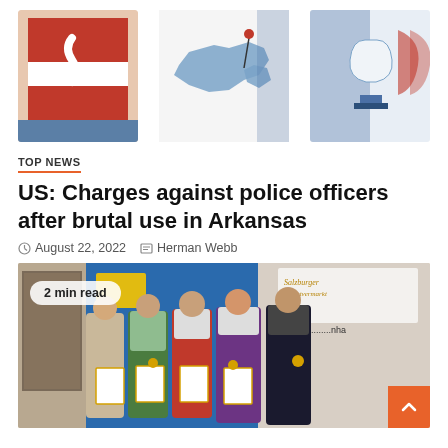[Figure (illustration): Three illustration panels: Austrian flag/window, map of Austria with pin, microscope/trophy illustration]
TOP NEWS
US: Charges against police officers after brutal use in Arkansas
August 22, 2022  Herman Webb
[Figure (photo): Group photo of five people in Austrian traditional clothing holding certificates and medals, standing in front of a Salzburger Direktvermarkt banner. Badge reads '2 min read'.]